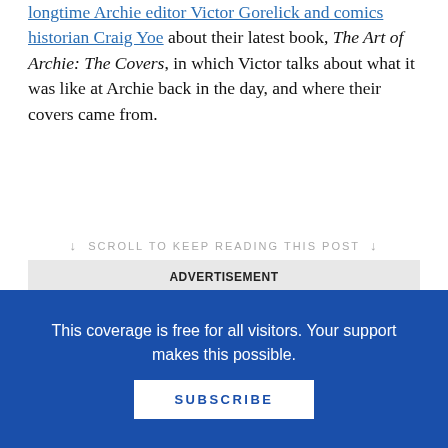longtime Archie editor Victor Gorelick and comics historian Craig Yoe about their latest book, The Art of Archie: The Covers, in which Victor talks about what it was like at Archie back in the day, and where their covers came from.
↓ SCROLL TO KEEP READING THIS POST ↓
[Figure (other): AKJ Education advertisement banner with logo, tagline 'teach, learn, inspire', and text 'It's our goal to make your job easier so you can focus on student learning.']
This coverage is free for all visitors. Your support makes this possible.
SUBSCRIBE